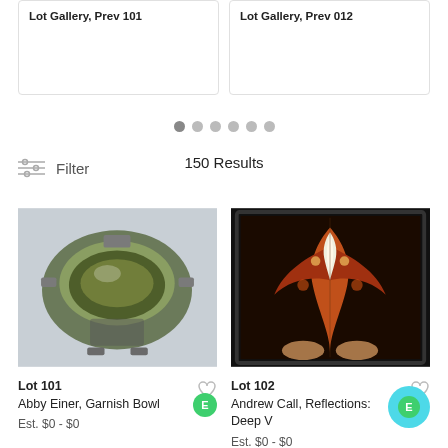[Figure (screenshot): Two truncated auction lot cards at top of page, showing titles partially cut off]
[Figure (other): Pagination dots, 6 dots with first one active/filled]
Filter
150 Results
[Figure (photo): Ceramic bowl with olive green glaze interior, grey exterior, Lot 101 by Abby Einer]
Lot 101
Abby Einer, Garnish Bowl
Est.  $0 - $0
[Figure (photo): Framed symmetrical abstract/digital art print with dark background, red and orange tones, Lot 102 by Andrew Call]
Lot 102
Andrew Call, Reflections: Deep V
Est.  $0 - $0